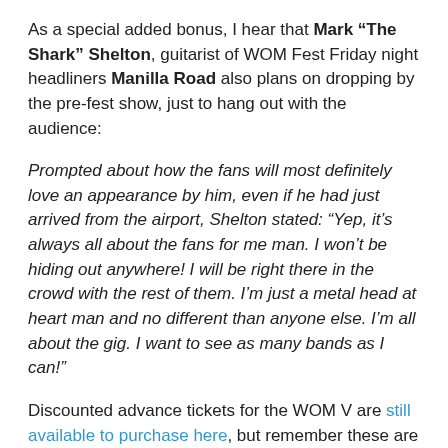As a special added bonus, I hear that Mark "The Shark" Shelton, guitarist of WOM Fest Friday night headliners Manilla Road also plans on dropping by the pre-fest show, just to hang out with the audience:
Prompted about how the fans will most definitely love an appearance by him, even if he had just arrived from the airport, Shelton stated: “Yep, it’s always all about the fans for me man. I won’t be hiding out anywhere! I will be right there in the crowd with the rest of them. I’m just a metal head at heart man and no different than anyone else. I’m all about the gig. I want to see as many bands as I can!”
Discounted advance tickets for the WOM V are still available to purchase here, but remember these are only available through Thursday (28 June)!